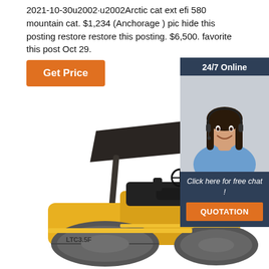2021-10-30u2002·u2002Arctic cat ext efi 580 mountain cat. $1,234 (Anchorage ) pic hide this posting restore restore this posting. $6,500. favorite this post Oct 29.
Get Price
[Figure (infographic): Customer service panel with '24/7 Online' header in dark navy, photo of smiling woman with headset, 'Click here for free chat!' text in italic white, and orange QUOTATION button]
[Figure (photo): Yellow LTC3.5F road roller / asphalt compactor machine with black canopy overhead, photographed from front-side angle on white background]